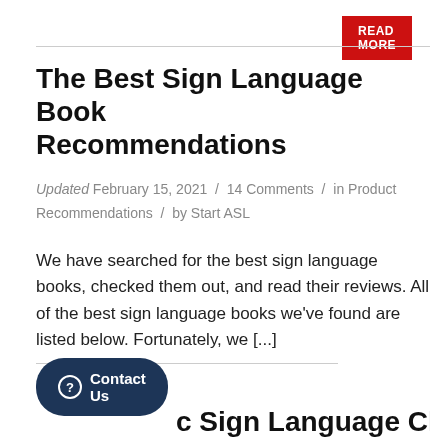[Figure (other): Red READ MORE button at top right]
The Best Sign Language Book Recommendations
Updated February 15, 2021 / 14 Comments / in Product Recommendations / by Start ASL
We have searched for the best sign language books, checked them out, and read their reviews. All of the best sign language books we've found are listed below. Fortunately, we [...]
[Figure (other): Red READ MORE button at bottom right]
c Sign Language Chart